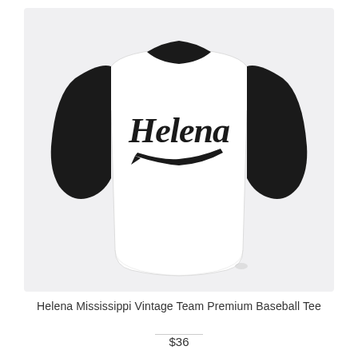[Figure (photo): A baseball raglan tee with white body and black 3/4 sleeves, featuring 'Helena' in vintage script lettering with a swoosh underline on the chest.]
Helena Mississippi Vintage Team Premium Baseball Tee
$36